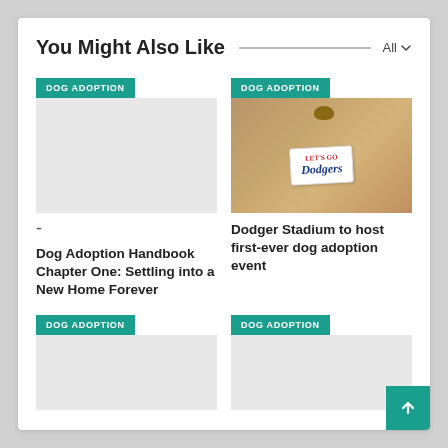You Might Also Like
[Figure (photo): Dog with a 'Let's Go Dodgers' sign hanging from its neck, sitting outdoors on brown ground]
-
Dog Adoption Handbook Chapter One: Settling into a New Home Forever
Dodger Stadium to host first-ever dog adoption event